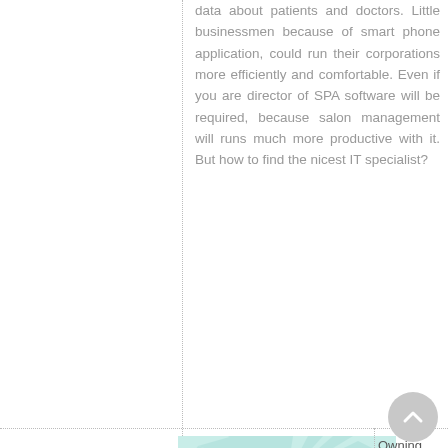data about patients and doctors. Little businessmen because of smart phone application, could run their corporations more efficiently and comfortable. Even if you are director of SPA software will be required, because salon management will runs much more productive with it. But how to find the nicest IT specialist?
[Figure (illustration): Illustration of a person meditating in lotus position outdoors, wearing white, with a green background and rays of light. Title text reads 'Meditation' with subtitle 'is seeing thoughts as if they were passing clouds'.]
Owning good, custom operating system at your office may